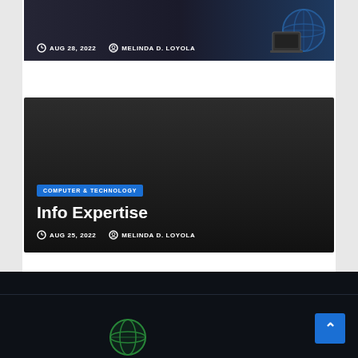[Figure (screenshot): Top card with dark background showing date AUG 28, 2022 and author MELINDA D. LOYOLA with globe icon decoration]
AUG 28, 2022   MELINDA D. LOYOLA
[Figure (screenshot): Article card with dark background showing category badge COMPUTER & TECHNOLOGY, title Info Expertise, date AUG 25 2022 and author MELINDA D. LOYOLA]
COMPUTER & TECHNOLOGY
Info Expertise
AUG 25, 2022   MELINDA D. LOYOLA
[Figure (screenshot): Dark footer area with scroll-to-top button and globe logo at bottom]